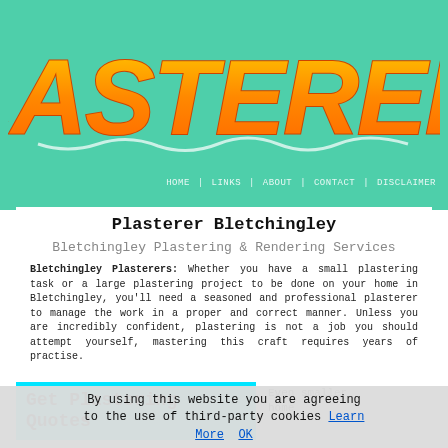[Figure (logo): PLASTERERS logo in large orange brush-stroke lettering on teal/green background]
HOME | LINKS | ABOUT | CONTACT | DISCLAIMER
Plasterer Bletchingley
Bletchingley Plastering & Rendering Services
Bletchingley Plasterers: Whether you have a small plastering task or a large plastering project to be done on your home in Bletchingley, you'll need a seasoned and professional plasterer to manage the work in a proper and correct manner. Unless you are incredibly confident, plastering is not a job you should attempt yourself, mastering this craft requires years of practise.
Get Plastering Quotes
Even smaller home
By using this website you are agreeing to the use of third-party cookies Learn More OK